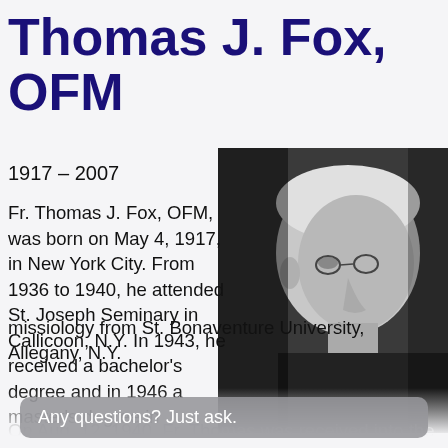Thomas J. Fox, OFM
1917 – 2007
[Figure (photo): Black and white profile photograph of an elderly man with white hair and glasses, wearing dark clothing, facing right.]
Fr. Thomas J. Fox, OFM, was born on May 4, 1917, in New York City. From 1936 to 1940, he attended St. Joseph Seminary in Callicoon, N.Y. In 1943, he received a bachelor's degree and in 1946 a master's degree in
missiology from St. Bonaventure University, Allegany, N.Y.
Any questions? Just ask.
On Aug. 12, 1940, Fr. Thomas was received into the